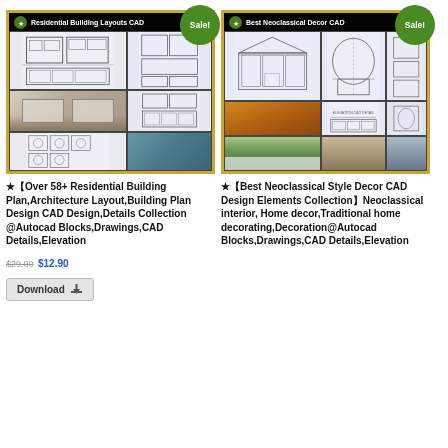[Figure (screenshot): Product image for Residential Building Layouts CAD with Sale badge - shows architectural floor plans and interior photos]
[Figure (screenshot): Product image for Best Neoclassical Decor CAD with Sale badge - shows neoclassical architectural drawings and building photos]
★【Over 58+ Residential Building Plan,Architecture Layout,Building Plan Design CAD Design,Details Collection  @Autocad Blocks,Drawings,CAD Details,Elevation
★【Best Neoclassical Style Decor CAD Design Elements Collection】Neoclassical interior, Home decor,Traditional home decorating,Decoration@Autocad Blocks,Drawings,CAD Details,Elevation
$29.00 $12.90
Download